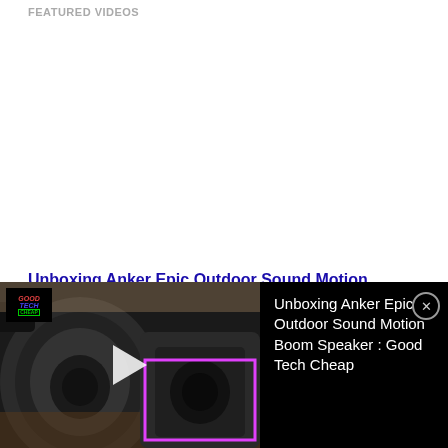FEATURED VIDEOS
Unboxing Anker Epic Outdoor Sound Motion Boom...
Our Links : Follow UsEmail Us : Matthew@youkre8networks.comBusiness & Sponsorship Inquiry Email : matthew@youkre8networks.comHost : Matt, Kevin, Adron, BradThis channel is a fun variety channel that features...
[Figure (screenshot): Video player bar at the bottom showing a Bluetooth speaker thumbnail on the left with a play button, a logo overlay in the top-left corner, and a pink rectangle accent. On the right, white text reads: Unboxing Anker Epic Outdoor Sound Motion Boom Speaker : Good Tech Cheap, with an X close button in the top-right corner.]